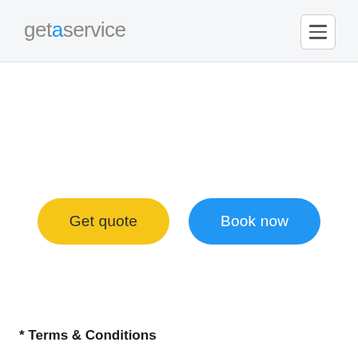getaservice
[Figure (screenshot): Two call-to-action buttons: 'Get quote' (yellow/gold pill button) and 'Book now' (blue pill button) centered on a white background]
* Terms & Conditions